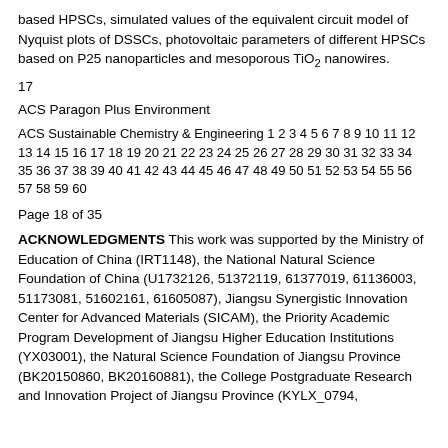based HPSCs, simulated values of the equivalent circuit model of Nyquist plots of DSSCs, photovoltaic parameters of different HPSCs based on P25 nanoparticles and mesoporous TiO2 nanowires.
17
ACS Paragon Plus Environment
ACS Sustainable Chemistry & Engineering 1 2 3 4 5 6 7 8 9 10 11 12 13 14 15 16 17 18 19 20 21 22 23 24 25 26 27 28 29 30 31 32 33 34 35 36 37 38 39 40 41 42 43 44 45 46 47 48 49 50 51 52 53 54 55 56 57 58 59 60
Page 18 of 35
ACKNOWLEDGMENTS This work was supported by the Ministry of Education of China (IRT1148), the National Natural Science Foundation of China (U1732126, 51372119, 61377019, 61136003, 51173081, 51602161, 61605087), Jiangsu Synergistic Innovation Center for Advanced Materials (SICAM), the Priority Academic Program Development of Jiangsu Higher Education Institutions (YX03001), the Natural Science Foundation of Jiangsu Province (BK20150860, BK20160881), the College Postgraduate Research and Innovation Project of Jiangsu Province (KYLX_0794,